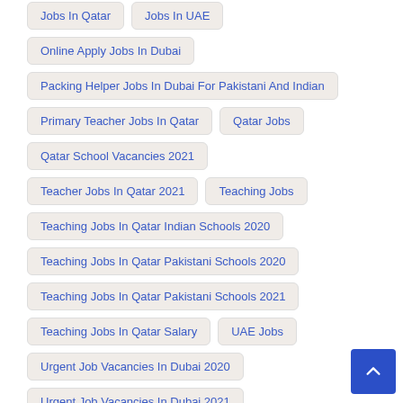Jobs In Qatar
Jobs In UAE
Online Apply Jobs In Dubai
Packing Helper Jobs In Dubai For Pakistani And Indian
Primary Teacher Jobs In Qatar
Qatar Jobs
Qatar School Vacancies 2021
Teacher Jobs In Qatar 2021
Teaching Jobs
Teaching Jobs In Qatar Indian Schools 2020
Teaching Jobs In Qatar Pakistani Schools 2020
Teaching Jobs In Qatar Pakistani Schools 2021
Teaching Jobs In Qatar Salary
UAE Jobs
Urgent Job Vacancies In Dubai 2020
Urgent Job Vacancies In Dubai 2021